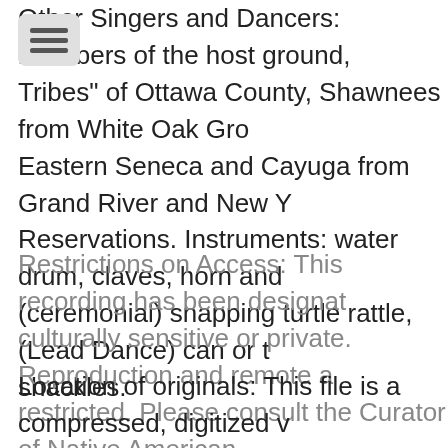[Figure (other): Navigation hamburger menu icon — grey rounded rectangle with three horizontal bars]
Other Singers and Dancers: members of the host ground, Tribes" of Ottawa County, Shawnees from White Oak Gro... Eastern Seneca and Cayuga from Grand River and New Y... Reservations. Instruments: water drum, claves, horn and (ceremonial) snapping turtle rattle, (Lead Dance) can or t... shackles.
Restrictions on Access: This recording has been designat... culturally sensitive or private. Reproduction and remote a... restricted. Please consult the Curator of Native American more information.
Location of originals: This file is a compressed, digitized v... original. The APS Library maintains the original format (A(... well as an uncompressed digitized version of this recordin...